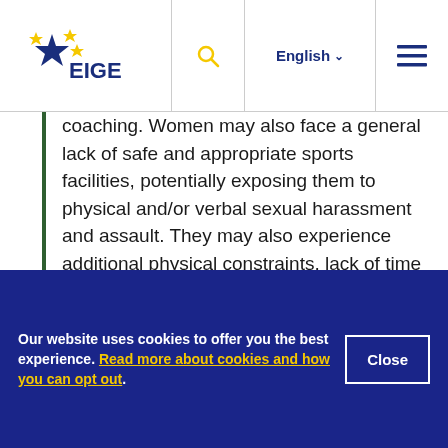EIGE | English
coaching. Women may also face a general lack of safe and appropriate sports facilities, potentially exposing them to physical and/or verbal sexual harassment and assault. They may also experience additional physical constraints, lack of time and/or lack of childcare facilities.
Establishing gender equality in sports policy will
Our website uses cookies to offer you the best experience. Read more about cookies and how you can opt out.